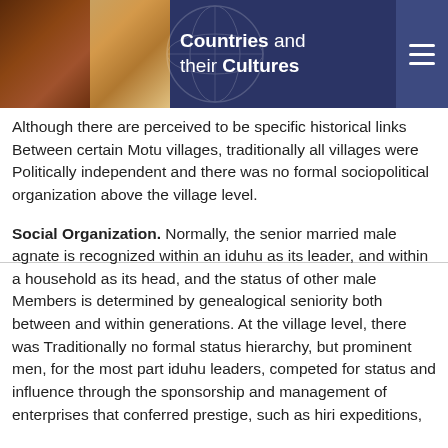Countries and their Cultures
Although there are perceived to be specific historical links Between certain Motu villages, traditionally all villages were Politically independent and there was no formal sociopolitical organization above the village level.
Social Organization. Normally, the senior married male agnate is recognized within an iduhu as its leader, and within a household as its head, and the status of other male Members is determined by genealogical seniority both between and within generations. At the village level, there was Traditionally no formal status hierarchy, but prominent men, for the most part iduhu leaders, competed for status and influence through the sponsorship and management of enterprises that conferred prestige, such as hiri expeditions,